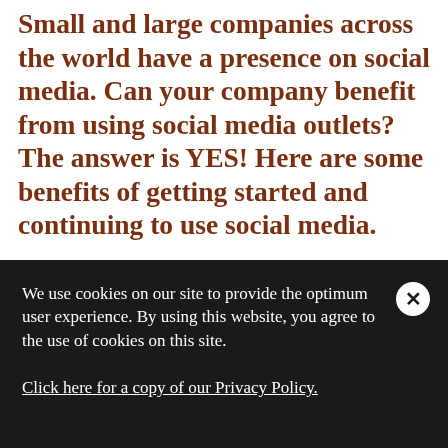Small and large companies across the world have a presence on social media. Can your company benefit from using social media outlets? The answer is YES! Here are some benefits of getting started and continuing to use social media.
We use cookies on our site to provide the optimum user experience. By using this website, you agree to the use of cookies on this site.

Click here for a copy of our Privacy Policy.